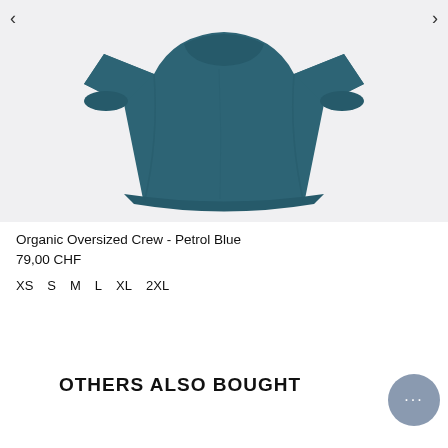[Figure (photo): Organic oversized crew-neck sweatshirt in petrol blue color, shown flat/ghost style on light gray background with navigation arrows on each side]
Organic Oversized Crew - Petrol Blue
79,00 CHF
XS   S   M   L   XL   2XL
OTHERS ALSO BOUGHT